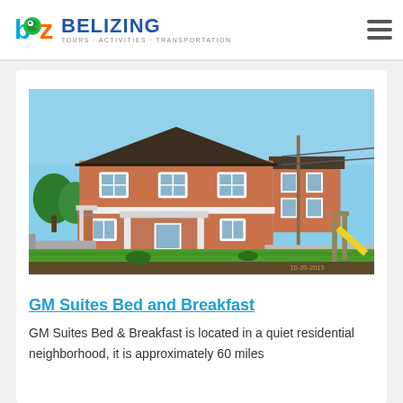BZ BELIZING - TOURS · ACTIVITIES · TRANSPORTATION
[Figure (photo): Exterior photo of GM Suites Bed and Breakfast — a two-story terracotta/orange stucco house with white trim, multiple windows, a covered entrance, and a yellow playground slide visible on the right. Green lawn in foreground, blue sky in background.]
GM Suites Bed and Breakfast
GM Suites Bed & Breakfast is located in a quiet residential neighborhood, it is approximately 60 miles